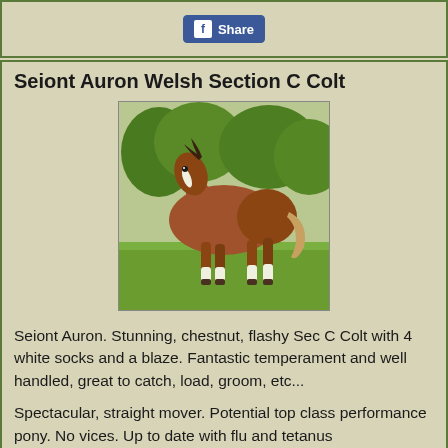[Figure (other): Facebook Share button in blue with white text]
Seiont Auron Welsh Section C Colt
[Figure (photo): A chestnut Welsh Section C colt with white socks and blaze standing on green grass]
Seiont Auron. Stunning, chestnut, flashy Sec C Colt with 4 white socks and a blaze. Fantastic temperament and well handled, great to catch, load, groom, etc...
Spectacular, straight mover. Potential top class performance pony. No vices. Up to date with flu and tetanus
Sire Fronarth Cenhadwr. Dam Seiont Heini.
Price:   £950